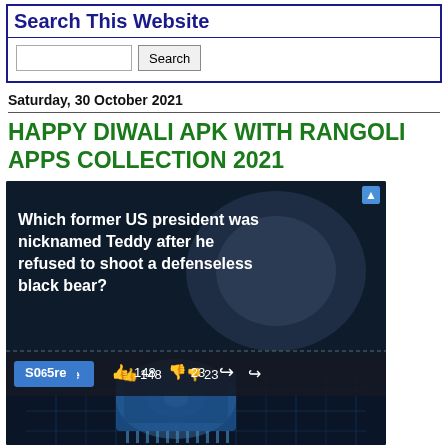Search This Website
Search
Saturday, 30 October 2021
HAPPY DIWALI APK WITH RANGOLI APPS COLLECTION 2021
[Figure (screenshot): Advertisement screenshot showing a trivia question 'Which former US president was nicknamed Teddy after he refused to shoot a defenseless black bear?' with a score badge showing 'S065re', thumbs up 148, thumbs down 23, and a share icon. Background shows a glowing circuit board / computer chip imagery.]